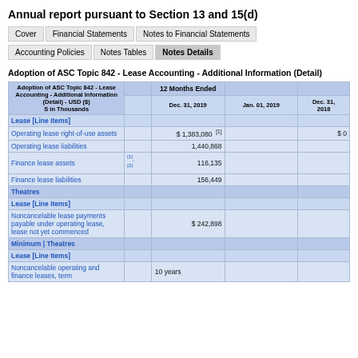Annual report pursuant to Section 13 and 15(d)
Cover | Financial Statements | Notes to Financial Statements
Accounting Policies | Notes Tables | Notes Details
Adoption of ASC Topic 842 - Lease Accounting - Additional Information (Detail)
| Adoption of ASC Topic 842 - Lease Accounting - Additional Information (Detail) - USD ($) S in Thousands |  | 12 Months Ended |  |  |
| --- | --- | --- | --- | --- |
|  |  | Dec. 31, 2019 | Jan. 01, 2019 | Dec. 31, 2018 |
| Lease [Line Items] |  |  |  |  |
| Operating lease right-of-use assets |  | $ 1,383,080 [1] |  | $ 0 |
| Operating lease liabilities |  | 1,440,868 |  |  |
| Finance lease assets | [1], [2] | 116,135 |  |  |
| Finance lease liabilities |  | 156,449 |  |  |
| Theatres |  |  |  |  |
| Lease [Line Items] |  |  |  |  |
| Noncancelable lease payments payable under operating lease, lease not yet commenced |  | $ 242,898 |  |  |
| Minimum | Theatres |  |  |  |  |
| Lease [Line Items] |  |  |  |  |
| Noncancelable operating and finance leases, term |  | 10 years |  |  |